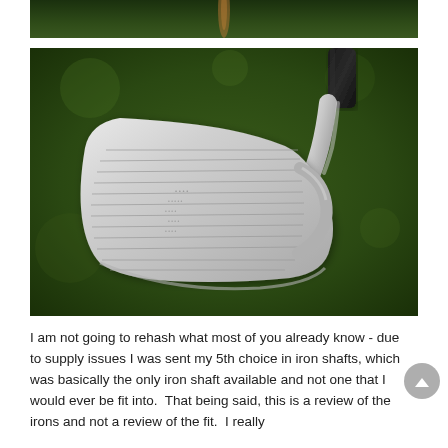[Figure (photo): Partial top strip of a golf club photo with dark green bokeh background — cropped top portion only]
[Figure (photo): Close-up photo of the face of a golf iron (chrome/silver club head with visible grooves) against a dark green bokeh background, with a black grip visible in the upper right corner]
I am not going to rehash what most of you already know - due to supply issues I was sent my 5th choice in iron shafts, which was basically the only iron shaft available and not one that I would ever be fit into.  That being said, this is a review of the irons and not a review of the fit.  I really